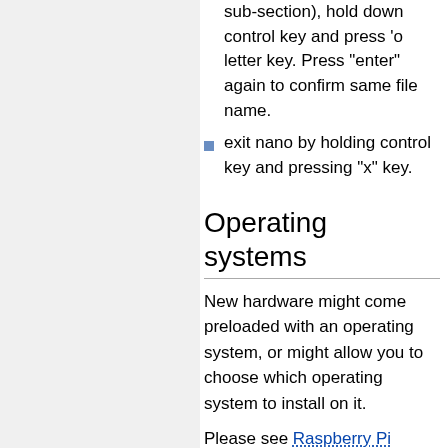sub-section), hold down control key and press 'o letter key. Press "enter" again to confirm same file name.
exit nano by holding control key and pressing "x" key.
Operating systems
New hardware might come preloaded with an operating system, or might allow you to choose which operating system to install on it.
Please see Raspberry Pi